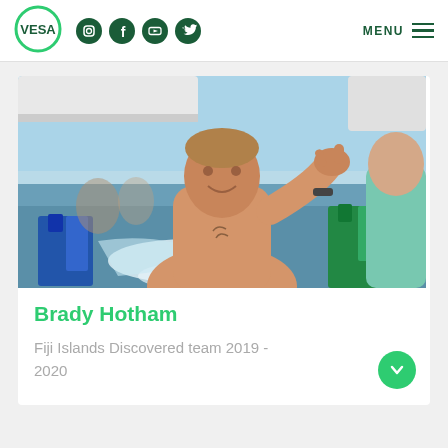VESA — social media navigation header with MENU
[Figure (photo): Young shirtless man on a boat at sea, giving a thumbs-up/shaka gesture, with diving equipment and wake trail visible behind. Outdoor sunny day on the water.]
Brady Hotham
Fiji Islands Discovered team 2019 - 2020